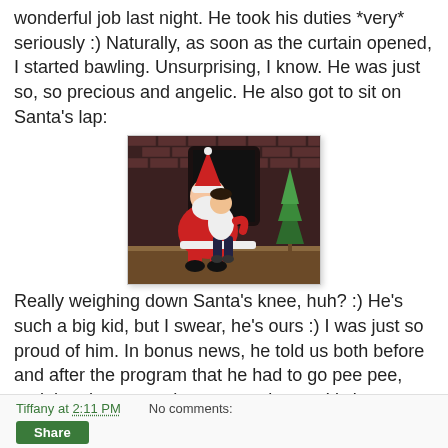wonderful job last night. He took his duties *very* seriously :) Naturally, as soon as the curtain opened, I started bawling. Unsurprising, I know. He was just so, so precious and angelic. He also got to sit on Santa's lap:
[Figure (photo): A young child sitting on Santa Claus's lap in front of a brick wall backdrop with a Christmas tree visible on the right.]
Really weighing down Santa's knee, huh? :) He's such a big kid, but I swear, he's ours :) I was just so proud of him. In bonus news, he told us both before and after the program that he had to go pee pee, and then he sat on the potty and went. It's just raining toddler good news today.
Tiffany at 2:11 PM    No comments: